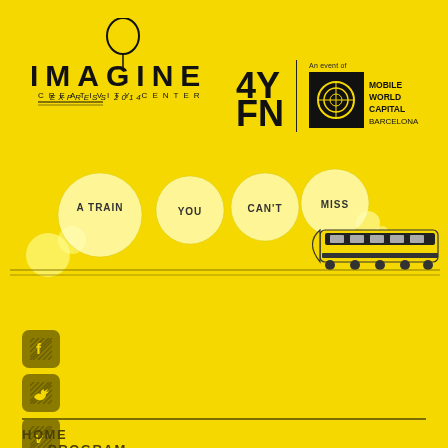[Figure (logo): IMAGINE CREATIVITY CENTER EXPRESS 2014 logo with balloon above the letter G]
[Figure (logo): 4YFN | An event of MOBILE WORLD CAPITAL BARCELONA logo]
[Figure (illustration): Speech bubbles with text 'A TRAIN YOU CAN'T MISS' and a yellow high-speed train illustration]
[Figure (illustration): Three social media icons: Facebook (f), Twitter (bird/t), Vimeo (V) in dark yellow square buttons]
HOME
PROGRAM